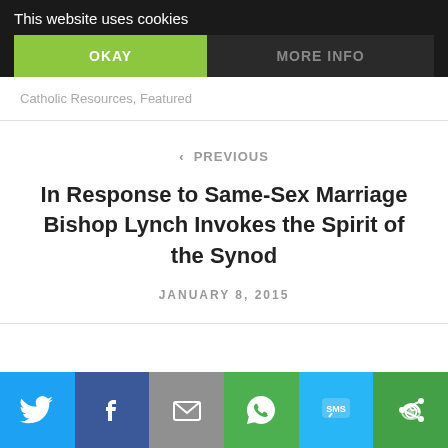This website uses cookies
OKAY
MORE INFO
Catholic Resources, Featured
‹ PREVIOUS
In Response to Same-Sex Marriage Bishop Lynch Invokes the Spirit of the Synod
JANUARY 8, 2015
[Figure (infographic): Social share bar with icons for Twitter, Facebook, Email, WhatsApp, SMS, and a share/more option]